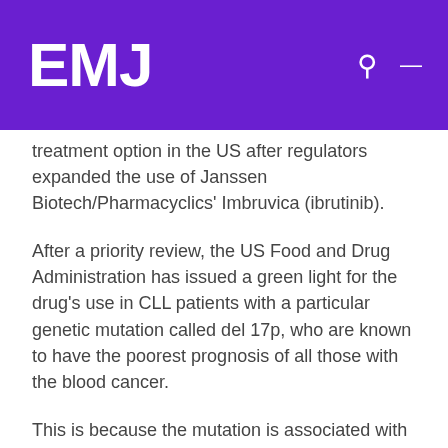EMJ
treatment option in the US after regulators expanded the use of Janssen Biotech/Pharmacyclics' Imbruvica (ibrutinib).
After a priority review, the US Food and Drug Administration has issued a green light for the drug's use in CLL patients with a particular genetic mutation called del 17p, who are known to have the poorest prognosis of all those with the blood cancer.
This is because the mutation is associated with poor responses to standard treatment for CLL, so it is particularly good news that these patients now have an additional option.
Imbruvica works by blocking the enzyme that allows cancer